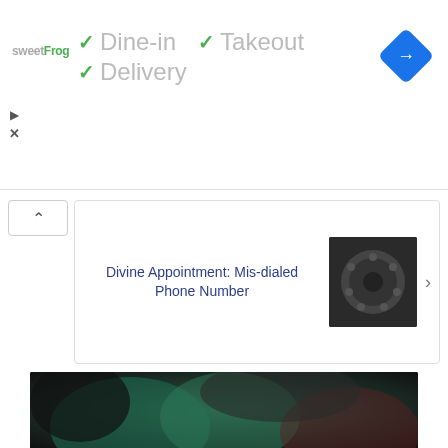[Figure (screenshot): SweetFrog restaurant info showing Dine-in, Takeout, Delivery checkmarks and a Google Maps navigation diamond icon]
[Figure (screenshot): Ad banner: Divine Appointment: Mis-dialed Phone Number with rotary phone thumbnail]
[Figure (photo): Dark photo showing people from behind, one person in teal/green shirt with others placing hands on their shoulders, in a dark setting]